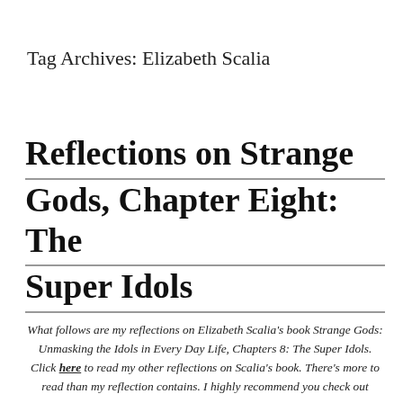Tag Archives: Elizabeth Scalia
Reflections on Strange Gods, Chapter Eight: The Super Idols
What follows are my reflections on Elizabeth Scalia's book Strange Gods: Unmasking the Idols in Every Day Life, Chapters 8: The Super Idols. Click here to read my other reflections on Scalia's book. There's more to read than my reflection contains. I highly recommend you check out